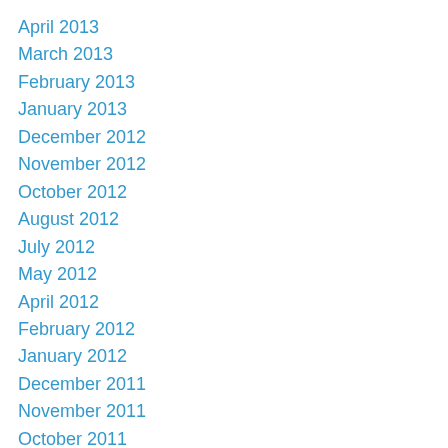April 2013
March 2013
February 2013
January 2013
December 2012
November 2012
October 2012
August 2012
July 2012
May 2012
April 2012
February 2012
January 2012
December 2011
November 2011
October 2011
September 2011
August 2011
July 2011
June 2011